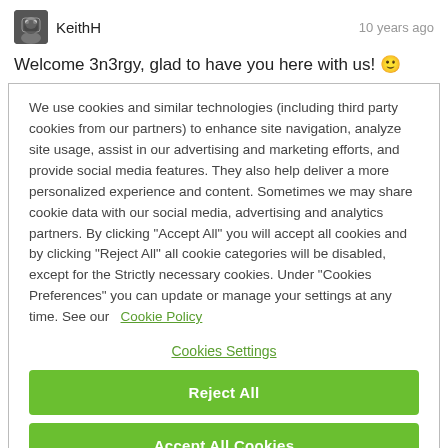KeithH   10 years ago
Welcome 3n3rgy, glad to have you here with us! 🙂
We use cookies and similar technologies (including third party cookies from our partners) to enhance site navigation, analyze site usage, assist in our advertising and marketing efforts, and provide social media features. They also help deliver a more personalized experience and content. Sometimes we may share cookie data with our social media, advertising and analytics partners. By clicking "Accept All" you will accept all cookies and by clicking "Reject All" all cookie categories will be disabled, except for the Strictly necessary cookies. Under "Cookies Preferences" you can update or manage your settings at any time. See our  Cookie Policy
Cookies Settings
Reject All
Accept All Cookies